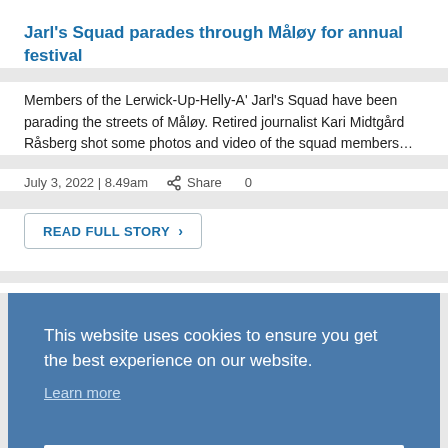Jarl's Squad parades through Måløy for annual festival
Members of the Lerwick-Up-Helly-A' Jarl's Squad have been parading the streets of Måløy. Retired journalist Kari Midtgård Råsberg shot some photos and video of the squad members…
July 3, 2022 | 8.49am   Share   0
READ FULL STORY >
This website uses cookies to ensure you get the best experience on our website.
Learn more
Got it!